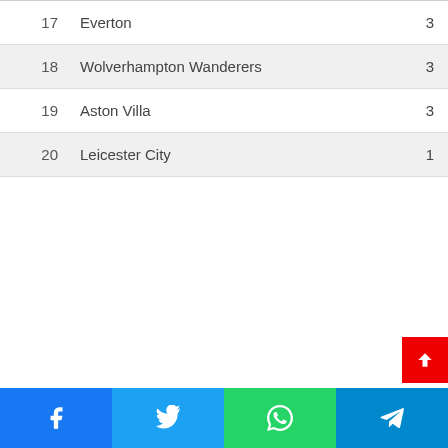| # | Team | Pts |
| --- | --- | --- |
| 17 | Everton | 3 |
| 18 | Wolverhampton Wanderers | 3 |
| 19 | Aston Villa | 3 |
| 20 | Leicester City | 1 |